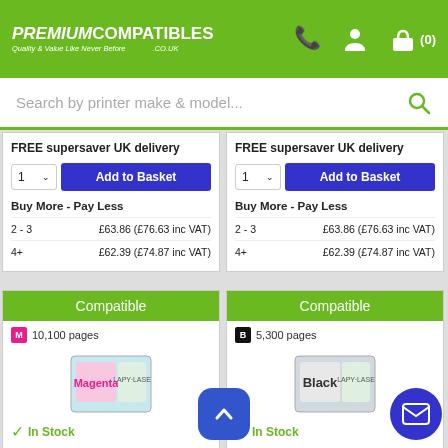[Figure (logo): PremiumCompatibles.co.uk logo with phone, account, and basket icons in green header]
Search by printer make & model...
FREE supersaver UK delivery
Add to Basket
Buy More - Pay Less
2 - 3
£63.86 (£76.63 inc VAT)
4+
£62.39 (£74.87 inc VAT)
FREE supersaver UK delivery
Add to Basket
Buy More - Pay Less
2 - 3
£63.86 (£76.63 inc VAT)
4+
£62.39 (£74.87 inc VAT)
Compatible
M 10,100 pages
[Figure (photo): Compatible magenta toner cartridge product box]
In Stock
Compatible Xerox 106R03759 Magenta High Capacity Toner
Compatible
B 5,300 pages
[Figure (photo): Compatible black toner cartridge product box]
In Stock
Compatible Xerox 106R03... Black Toner Cartridge